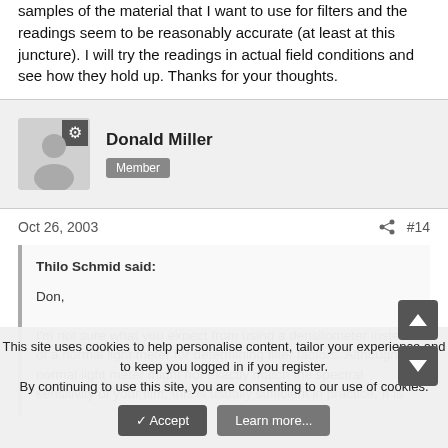samples of the material that I want to use for filters and the readings seem to be reasonably accurate (at least at this juncture). I will try the readings in actual field conditions and see how they hold up. Thanks for your thoughts.
Donald Miller
Member
Oct 26, 2003
#14
Thilo Schmid said:
Don,

I'm not sure what you expect from using a densitometer instead of a normal light meter for determining filter factors. Although a normal light meter might not exactly match the spectral sensitivity of your film, this is usually sufficient in practice. It is
This site uses cookies to help personalise content, tailor your experience and to keep you logged in if you register.
By continuing to use this site, you are consenting to our use of cookies.